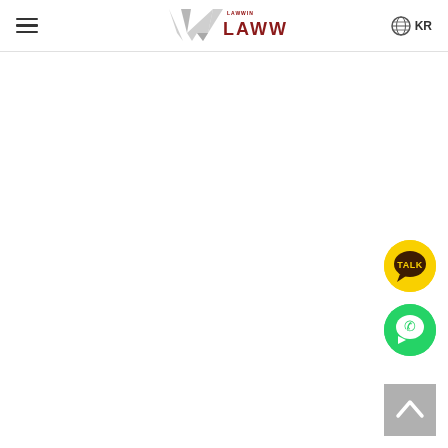[Figure (logo): LAWWIN law firm logo with stylized VW monogram in dark red/maroon and grey text]
[Figure (illustration): Hamburger menu icon (three horizontal lines) in top left]
[Figure (illustration): Globe icon with KR text for Korean language selector in top right]
[Figure (illustration): KakaoTalk chat button - yellow circle with TALK speech bubble icon]
[Figure (illustration): WhatsApp button - green circle with white phone/chat icon]
[Figure (illustration): Back to top button - grey square with upward chevron arrow]